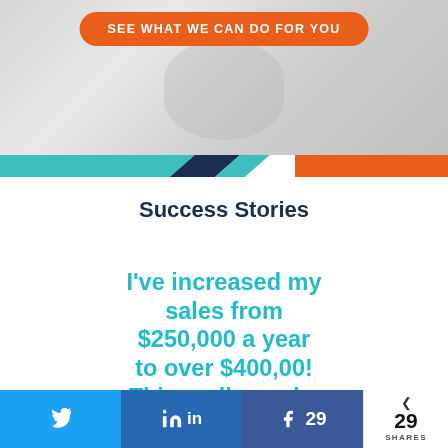[Figure (photo): Blurred background image of a person running or exercising, with an orange CTA button overlay reading SEE WHAT WE CAN DO FOR YOU, and decorative teal/navy/orange banner strips below.]
Success Stories
I've increased my sales from $250,000 a year to over $400,00! This really works
Twitter share, LinkedIn share, Facebook share 29, 29 SHARES